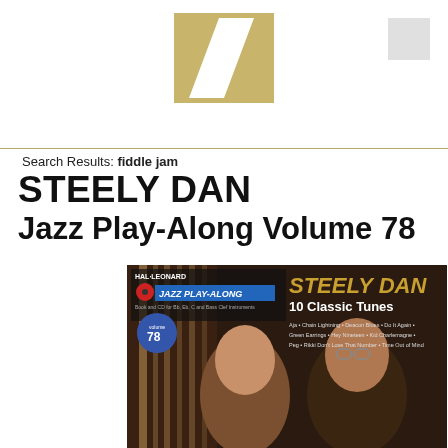Hal Leonard logo header
Search Results: fiddle jam
STEELY DAN
Jazz Play-Along Volume 78
[Figure (photo): Album cover for Steely Dan Jazz Play-Along Volume 78, Hal Leonard series. Shows the book and CD product with two men (Steely Dan members) on a dark background. Text on cover: HAL·LEONARD, JAZZ PLAY-ALONG, Book and CD for Bb, Eb, C and Bass Clef Instruments, volume 78, STEELY DAN 10 Classic Tunes, Aja • Chain Lightning • Deacon Blues • Do It Again • Green Earrings • Hey Nineteen • Kid Charlemagne • Peg • Rikki Don't Lose That Number • Time Out of Mind]